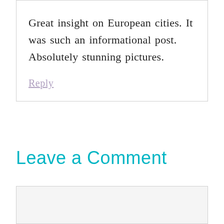Great insight on European cities. It was such an informational post. Absolutely stunning pictures.
Reply
Leave a Comment